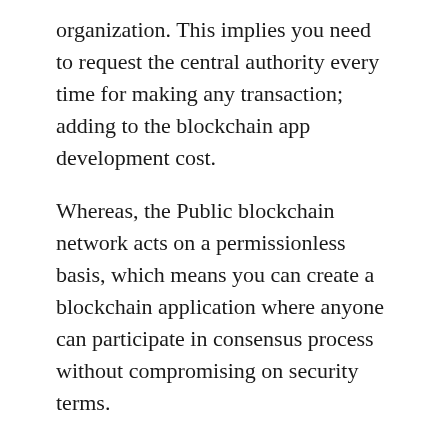organization. This implies you need to request the central authority every time for making any transaction; adding to the blockchain app development cost.
Whereas, the Public blockchain network acts on a permissionless basis, which means you can create a blockchain application where anyone can participate in consensus process without compromising on security terms.
When talking about Public blockchain network, you can either go for pre-existing blockchain solution which is cheaper but its service of platform might hurt, or you can create a customized blockchain solution where you can implement new features, but the development will cost you high.
As already explained, smart contracts enable dApps to connect with blockchain system. Thus, the cost of smart